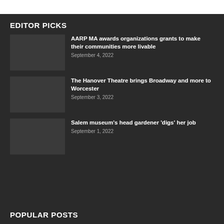EDITOR PICKS
AARP MA awards organizations grants to make their communities more livable
September 4, 2022
The Hanover Theatre brings Broadway and more to Worcester
September 3, 2022
Salem museum's head gardener 'digs' her job
September 1, 2022
POPULAR POSTS